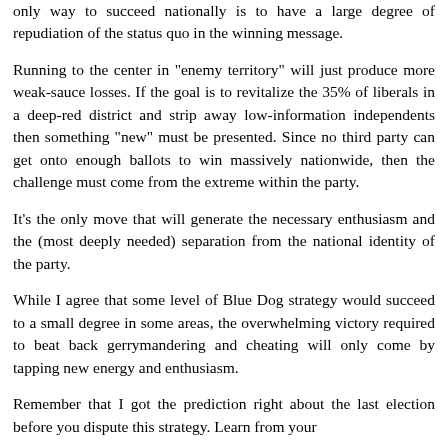only way to succeed nationally is to have a large degree of repudiation of the status quo in the winning message.
Running to the center in "enemy territory" will just produce more weak-sauce losses. If the goal is to revitalize the 35% of liberals in a deep-red district and strip away low-information independents then something "new" must be presented. Since no third party can get onto enough ballots to win massively nationwide, then the challenge must come from the extreme within the party.
It's the only move that will generate the necessary enthusiasm and the (most deeply needed) separation from the national identity of the party.
While I agree that some level of Blue Dog strategy would succeed to a small degree in some areas, the overwhelming victory required to beat back gerrymandering and cheating will only come by tapping new energy and enthusiasm.
Remember that I got the prediction right about the last election before you dispute this strategy. Learn from your